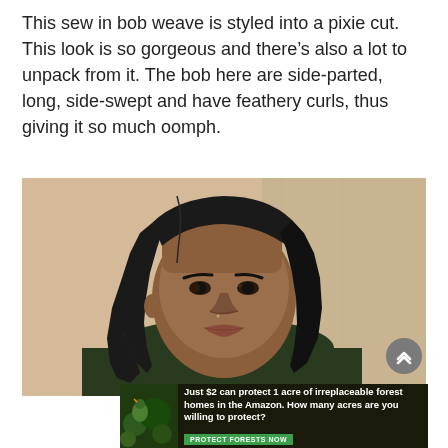This sew in bob weave is styled into a pixie cut. This look is so gorgeous and there's also a lot to unpack from it. The bob here are side-parted, long, side-swept and have feathery curls, thus giving it so much oomph.
[Figure (photo): A young Black woman with a side-parted straight bob weave hairstyle, looking slightly downward, against a light beige/cream wall background.]
Just $2 can protect 1 acre of irreplaceable forest homes in the Amazon. How many acres are you willing to protect? PROTECT FORESTS NOW